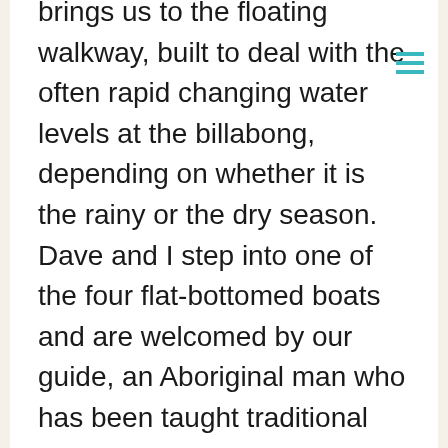brings us to the floating walkway, built to deal with the often rapid changing water levels at the billabong, depending on whether it is the rainy or the dry season. Dave and I step into one of the four flat-bottomed boats and are welcomed by our guide, an Aboriginal man who has been taught traditional knowledge by Kakadu elders. A mist is rising from the flat waters and all around we hear birds and the quiet voices of our fellow-tourists. For ninety minutes Dave and I are saturated in beauty and stories. We see a few crocodiles and don't see the other 240 crocodiles that live here. We see gaggles of whispering ducks, and are shown the grand Jabiru birds that are native to this area. We glide past the lily pads that are